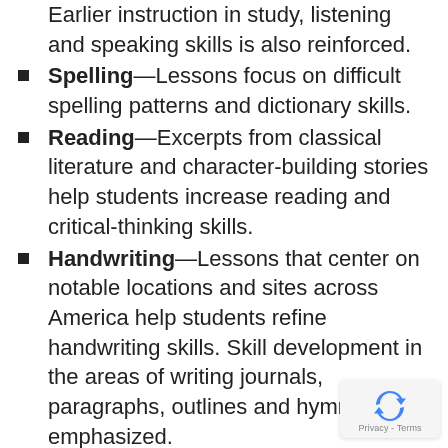Earlier instruction in study, listening and speaking skills is also reinforced.
Spelling—Lessons focus on difficult spelling patterns and dictionary skills.
Reading—Excerpts from classical literature and character-building stories help students increase reading and critical-thinking skills.
Handwriting—Lessons that center on notable locations and sites across America help students refine handwriting skills. Skill development in the areas of writing journals, paragraphs, outlines and hymns is also emphasized.